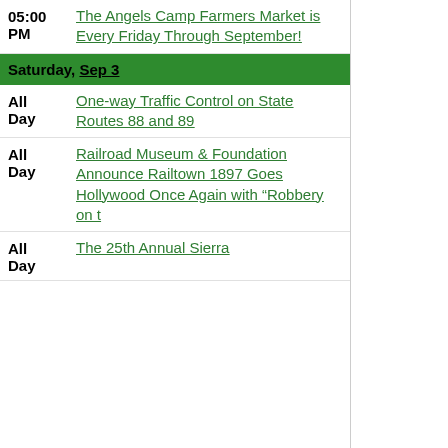05:00 PM — The Angels Camp Farmers Market is Every Friday Through September!
Saturday, Sep 3
All Day — One-way Traffic Control on State Routes 88 and 89
All Day — Railroad Museum & Foundation Announce Railtown 1897 Goes Hollywood Once Again with “Robbery on t
All Day — The 25th Annual Sierra